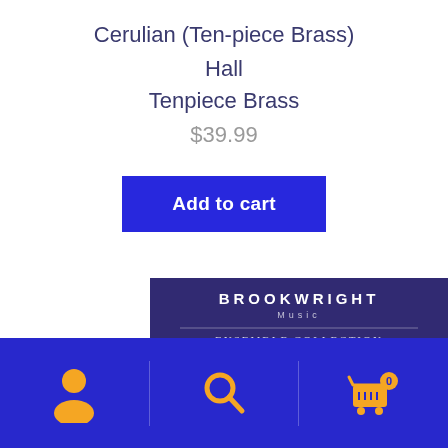Cerulian (Ten-piece Brass)
Hall
Tenpiece Brass
$39.99
Add to cart
[Figure (illustration): Brookwright Music Ensemble Collection product card showing 'Allegro Spiritoso' with a dark purple background]
Navigation bar with user icon, search icon, and cart icon (0 items)